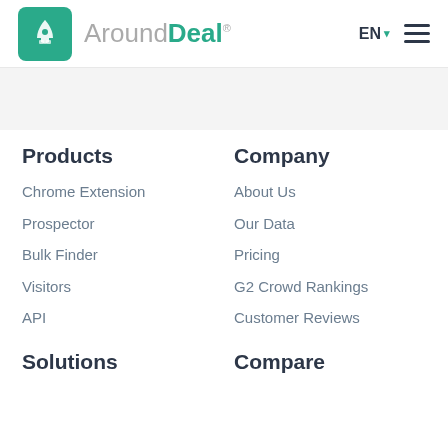[Figure (logo): AroundDeal logo with teal rocket icon and wordmark]
Products
Chrome Extension
Prospector
Bulk Finder
Visitors
API
Company
About Us
Our Data
Pricing
G2 Crowd Rankings
Customer Reviews
Solutions
Compare